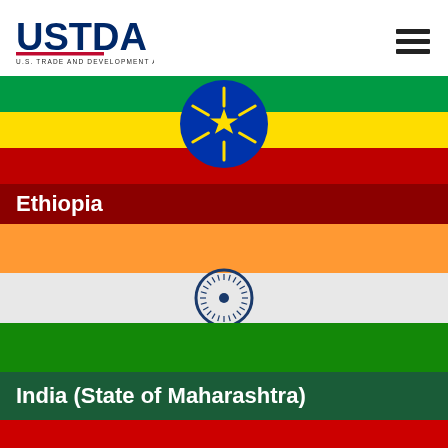[Figure (logo): USTDA - U.S. Trade and Development Agency logo]
[Figure (illustration): Ethiopian flag with green, yellow, red horizontal stripes and blue circle with gold star emblem, followed by dark red Ethiopia label bar]
Ethiopia
[Figure (illustration): Indian flag with orange, white, green horizontal stripes and navy blue Ashoka Chakra wheel in center, followed by dark green India (State of Maharashtra) label bar]
India (State of Maharashtra)
[Figure (illustration): Partial view of another flag - red colored, cut off at bottom of page]